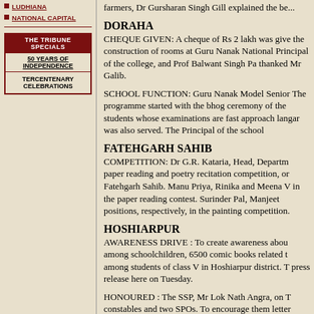LUDHIANA
NATIONAL CAPITAL
farmers, Dr Gursharan Singh Gill explained the be...
[Figure (other): THE TRIBUNE SPECIALS box with 50 YEARS OF INDEPENDENCE and TERCENTENARY CELEBRATIONS]
DORAHA
CHEQUE GIVEN: A cheque of Rs 2 lakh was given the construction of rooms at Guru Nanak National Principal of the college, and Prof Balwant Singh Pa thanked Mr Galib.
SCHOOL FUNCTION: Guru Nanak Model Senior The programme started with the bhog ceremony of the students whose examinations are fast approach langar was also served. The Principal of the school
FATEHGARH SAHIB
COMPETITION: Dr G.R. Kataria, Head, Departm paper reading and poetry recitation competition, or Fatehgarh Sahib. Manu Priya, Rinika and Meena V in the paper reading contest. Surinder Pal, Manjeet positions, respectively, in the painting competition.
HOSHIARPUR
AWARENESS DRIVE : To create awareness abou among schoolchildren, 6500 comic books related t among students of class V in Hoshiarpur district. T press release here on Tuesday.
HONOURED : The SSP, Mr Lok Nath Angra, on T constables and two SPOs. To encourage them letter